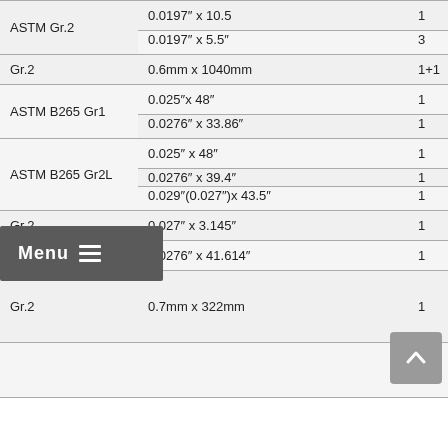| Grade | Dimensions | Qty |
| --- | --- | --- |
| ASTM Gr.2 | 0.0197″ x 10.5 | 1 |
|  | 0.0197″ x 5.5″ | 3 |
| Gr.2 | 0.6mm x 1040mm | 1+1 |
| ASTM B265 Gr1 | 0.025″x 48″ | 1 |
|  | 0.0276″ x 33.86″ | 1 |
| ASTM B265 Gr2L | 0.025″ x 48″ | 1 |
|  | 0.0276″ x 39.4″ | 1 |
|  | 0.029″(0.027″)x 43.5″ | 1 |
| Gr.2 | 0.027″ x 3.145″ | 1 |
| Gr.1 | 0.0276″ x 41.614″ | 1 |
| Gr.2 | 0.7mm x 322mm | 1 |
|  |  |  |